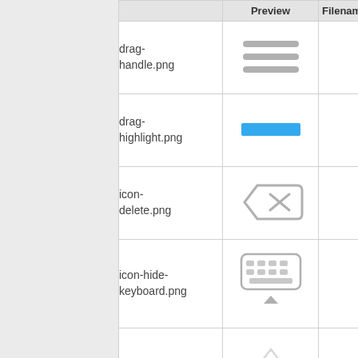|  | Preview | Filename |
| --- | --- | --- |
| drag-handle.png | [drag handle icon] |  |
| drag-highlight.png | [blue bar] |  |
| icon-delete.png | [delete icon] |  |
| icon-hide-keyboard.png | [hide keyboard icon] |  |
| icon-shift-lock.png |  |  |
| icon-shift-on.png |  |  |